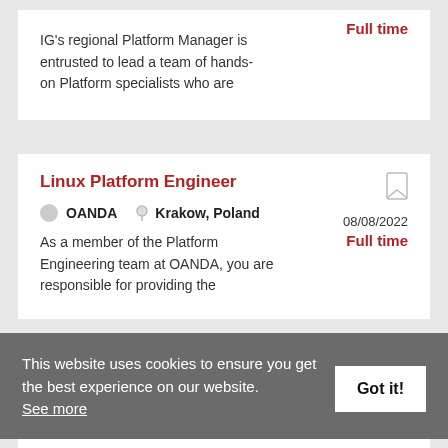IG's regional Platform Manager is entrusted to lead a team of hands-on Platform specialists who are
Full time
Linux Platform Engineer
OANDA   Krakow, Poland   08/08/2022
Full time
As a member of the Platform Engineering team at OANDA, you are responsible for providing the
This website uses cookies to ensure you get the best experience on our website. See more
Got it!
Full time